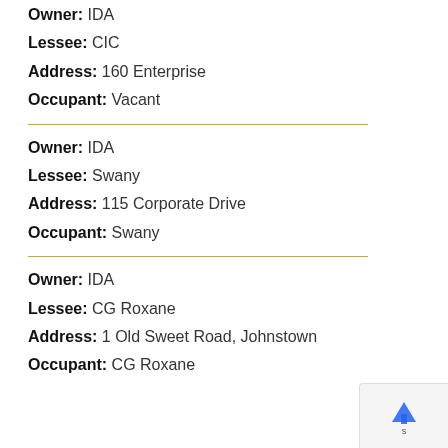Owner: IDA
Lessee: CIC
Address: 160 Enterprise
Occupant: Vacant
Owner: IDA
Lessee: Swany
Address: 115 Corporate Drive
Occupant: Swany
Owner: IDA
Lessee: CG Roxane
Address: 1 Old Sweet Road, Johnstown
Occupant: CG Roxane